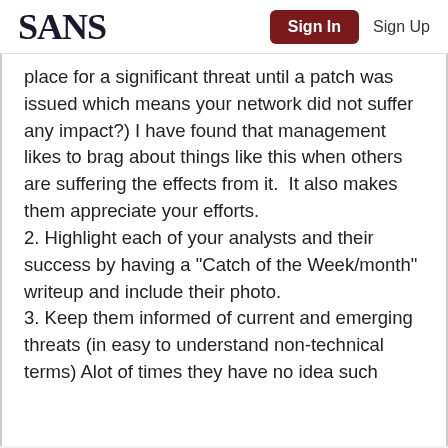SANS | Sign In | Sign Up
place for a significant threat until a patch was issued which means your network did not suffer any impact?) I have found that management likes to brag about things like this when others are suffering the effects from it.  It also makes them appreciate your efforts.
2. Highlight each of your analysts and their success by having a "Catch of the Week/month" writeup and include their photo.
3. Keep them informed of current and emerging threats (in easy to understand non-technical terms) Alot of times they have no idea such